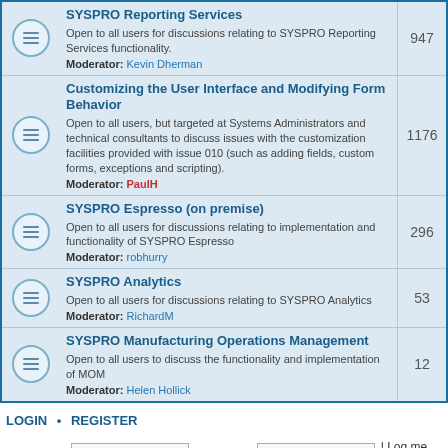| Forum | Posts |
| --- | --- |
| SYSPRO Reporting Services
Open to all users for discussions relating to SYSPRO Reporting Services functionality.
Moderator: Kevin Dherman | 947 |
| Customizing the User Interface and Modifying Form Behavior
Open to all users, but targeted at Systems Administrators and technical consultants to discuss issues with the customization facilities provided with issue 010 (such as adding fields, custom forms, exceptions and scripting).
Moderator: PaulH | 1176 |
| SYSPRO Espresso (on premise)
Open to all users for discussions relating to implementation and functionality of SYSPRO Espresso
Moderator: robhurry | 296 |
| SYSPRO Analytics
Open to all users for discussions relating to SYSPRO Analytics
Moderator: RichardM | 53 |
| SYSPRO Manufacturing Operations Management
Open to all users to discuss the functionality and implementation of MOM
Moderator: Helen Hollick | 12 |
LOGIN • REGISTER
Username: [input] Password: [input] | Log me on autom
WHO IS ONLINE
In total there are 3 users online :: 0 registered, 0 hidden and 3 guests (based on users a
Most users ever online was 50 on Wed May 07, 2014 8:39 pm